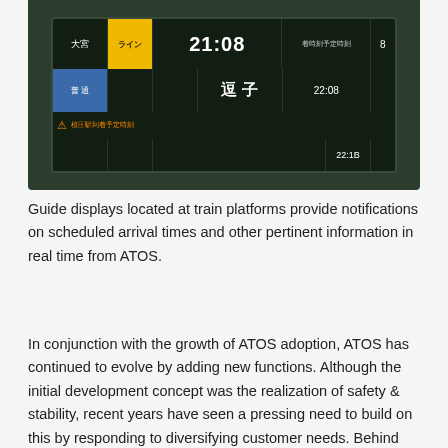[Figure (photo): A Japanese train station platform guide display board showing scheduled arrival times and train information in Japanese, including time 21:08 and 22:08, with yellow and blue colored sections on a dark green/black background.]
Guide displays located at train platforms provide notifications on scheduled arrival times and other pertinent information in real time from ATOS.
In conjunction with the growth of ATOS adoption, ATOS has continued to evolve by adding new functions. Although the initial development concept was the realization of safety & stability, recent years have seen a pressing need to build on this by responding to diversifying customer needs. Behind this trend are new requirements for cooperation between train lines arising from mutual track use and other such consequences of the ongoing diversification of transport. Command centers, station facilities, and software have been modified and improved as functional advances were made;